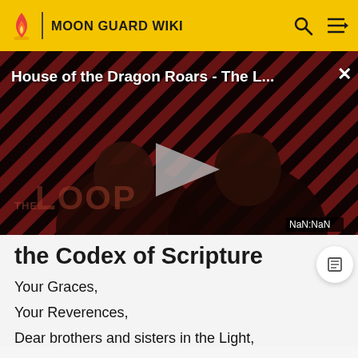MOON GUARD WIKI
[Figure (screenshot): Video player overlay showing 'House of the Dragon Roars - The L...' with a play button in the center, diagonal red and dark stripes background, two people silhouetted in foreground, 'THE LOOP' text watermark, and 'NaN:NaN' timestamp in lower right corner.]
the Codex of Scripture
Your Graces,
Your Reverences,
Dear brothers and sisters in the Light,